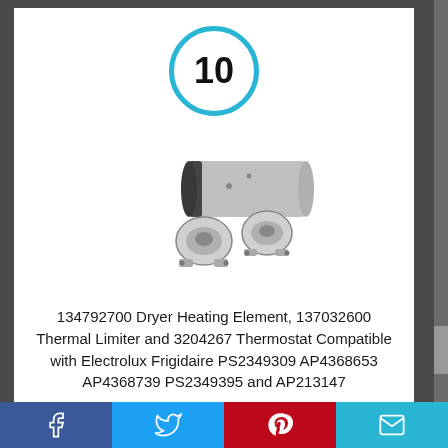[Figure (other): Number 10 inside a teal circle]
[Figure (photo): Product photo of dryer heating element with thermal limiters/thermostats — cylindrical silver heater element with two round disc thermostats]
134792700 Dryer Heating Element, 137032600 Thermal Limiter and 3204267 Thermostat Compatible with Electrolux Frigidaire PS2349309 AP4368653 AP4368739 PS2349395 and AP213147
By Monkemon